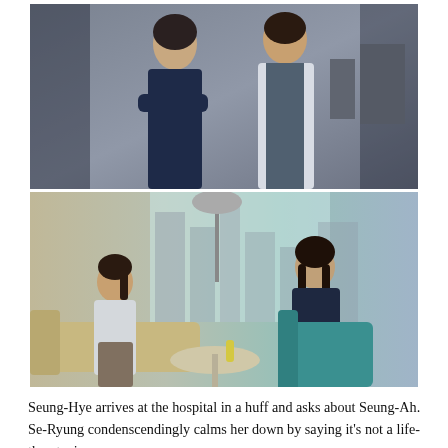[Figure (photo): Top photo: Two women standing in a hospital office. One woman on the left wears a dark navy outfit with arms crossed; the other on the right wears a white jacket over a dark top, looking concerned.]
[Figure (photo): Bottom photo: Two women sitting across from each other in a modern cafe lounge area with large windows showing a city skyline. The woman on the left with a ponytail sits hunched on a beige sofa; the woman on the right with long dark hair sits on a teal chair.]
Seung-Hye arrives at the hospital in a huff and asks about Seung-Ah. Se-Ryung condenscendingly calms her down by saying it’s not a life-threatening surgery.
Then she takes Seung-Hye to a nearby cafe to talk. Seung-Hye notes